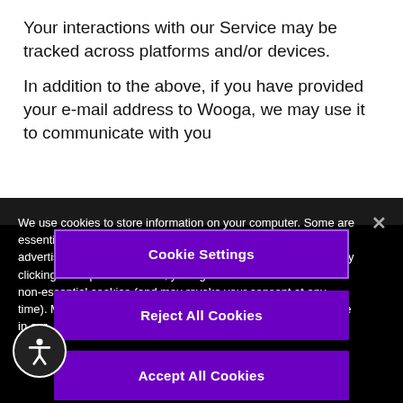Your interactions with our Service may be tracked across platforms and/or devices.
In addition to the above, if you have provided your e-mail address to Wooga, we may use it to communicate with you
We use cookies to store information on your computer. Some are essential to make this site work; others are for analytical or advertising purposes and help us to improve your experience. By clicking “Accept All Cookies”, you agree also to the use of these non-essential cookies (and may revoke your consent at any time). More information on how Wooga uses cookies is available in our Privacy Notice
Cookie Settings
Reject All Cookies
Accept All Cookies